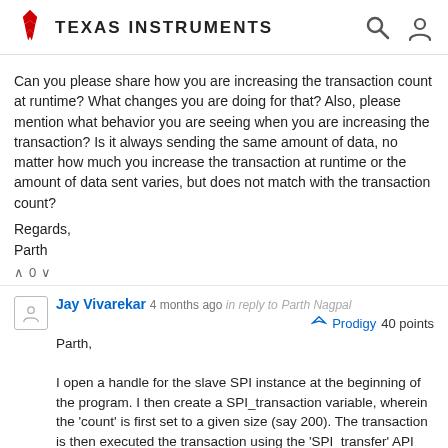Texas Instruments
Can you please share how you are increasing the transaction count at runtime? What changes you are doing for that? Also, please mention what behavior you are seeing when you are increasing the transaction? Is it always sending the same amount of data, no matter how much you increase the transaction at runtime or the amount of data sent varies, but does not match with the transaction count?
Regards,
Parth
Jay Vivarekar  4 months ago  in reply to  Parth Nagpal
Prodigy 40 points

Parth,

I open a handle for the slave SPI instance at the beginning of the program. I then create a SPI_transaction variable, wherein the 'count' is first set to a given size (say 200). The transaction is then executed the transaction using the 'SPI_transfer' API which works as expected. For the second transfer, the same